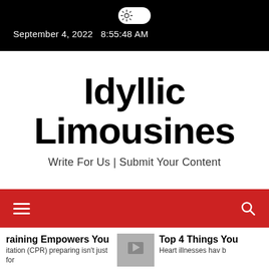September 4, 2022  8:55:48 AM
Idyllic Limousines
Write For Us | Submit Your Content
[Figure (screenshot): Red navigation bar with hamburger menu icon on the left and search icon on the right]
raining Empowers You
itation (CPR) preparing isn't just for
Top 4 Things You
Heart illnesses hav b